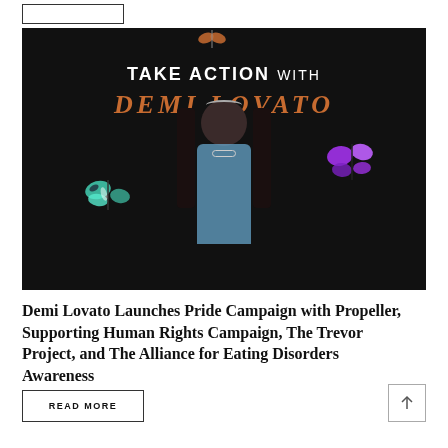[Figure (photo): Promotional image with dark background showing a woman with long dark hair wearing a light blue top and floral crown, surrounded by colorful butterflies (teal, purple, orange). Text overlay reads 'TAKE ACTION WITH DEMI LOVATO' in white and orange serif/sans-serif fonts.]
Demi Lovato Launches Pride Campaign with Propeller, Supporting Human Rights Campaign, The Trevor Project, and The Alliance for Eating Disorders Awareness
READ MORE